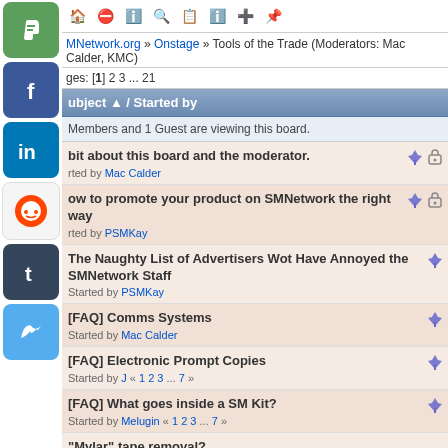SMNetwork.org » Onstage » Tools of the Trade (Moderators: Mac Calder, KMC)
Pages: [1] 2 3 ... 21
Subject / Started by
Members and 1 Guest are viewing this board.
bit about this board and the moderator. Started by Mac Calder [pinned, locked]
How to promote your product on SMNetwork the right way Started by PSMKay [pinned, locked]
The Naughty List of Advertisers Wot Have Annoyed the SMNetwork Staff Started by PSMKay [pinned]
[FAQ] Comms Systems Started by Mac Calder [pinned]
[FAQ] Electronic Prompt Copies Started by J « 1 2 3 ... 7 » [pinned]
[FAQ] What goes inside a SM Kit? Started by Melugin « 1 2 3 ... 7 » [pinned]
"Mylar" tape removal?